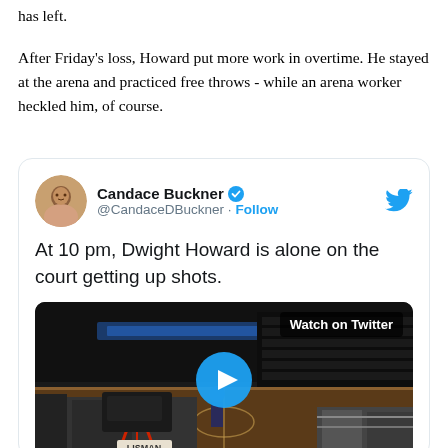has left.
After Friday's loss, Howard put more work in overtime. He stayed at the arena and practiced free throws - while an arena worker heckled him, of course.
[Figure (screenshot): Embedded tweet from @CandaceDBuckner with text 'At 10 pm, Dwight Howard is alone on the court getting up shots.' with a video thumbnail of a basketball arena with a play button overlay and Watch on Twitter badge.]